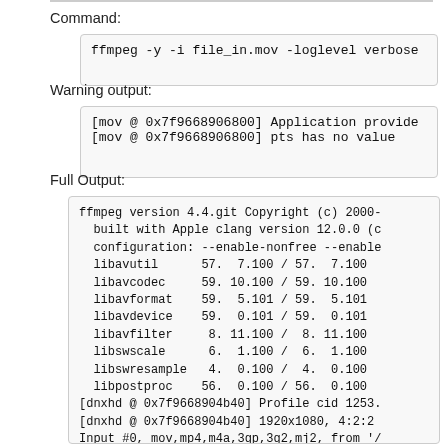Command:
ffmpeg -y -i file_in.mov -loglevel verbose
Warning output:
[mov @ 0x7f9668906800] Application provide
[mov @ 0x7f9668906800] pts has no value
Full Output:
ffmpeg version 4.4.git Copyright (c) 2000-
  built with Apple clang version 12.0.0 (c
  configuration: --enable-nonfree --enable
  libavutil      57.  7.100 / 57.  7.100
  libavcodec     59. 10.100 / 59. 10.100
  libavformat    59.  5.101 / 59.  5.101
  libavdevice    59.  0.101 / 59.  0.101
  libavfilter     8. 11.100 /  8. 11.100
  libswscale      6.  1.100 /  6.  1.100
  libswresample   4.  0.100 /  4.  0.100
  libpostproc    56.  0.100 / 56.  0.100
[dnxhd @ 0x7f9668904b40] Profile cid 1253.
[dnxhd @ 0x7f9668904b40] 1920x1080, 4:2:2
Input #0, mov,mp4,m4a,3gp,3g2,mj2, from '/
  Metadata:
    major_brand     : qt
    minor_version   : 1